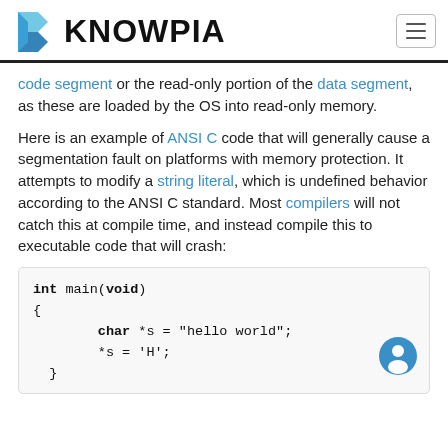KNOWPIA
code segment or the read-only portion of the data segment, as these are loaded by the OS into read-only memory.
Here is an example of ANSI C code that will generally cause a segmentation fault on platforms with memory protection. It attempts to modify a string literal, which is undefined behavior according to the ANSI C standard. Most compilers will not catch this at compile time, and instead compile this to executable code that will crash:
[Figure (screenshot): Code block showing C code: int main(void) { char *s = "hello world"; *s = 'H'; }]